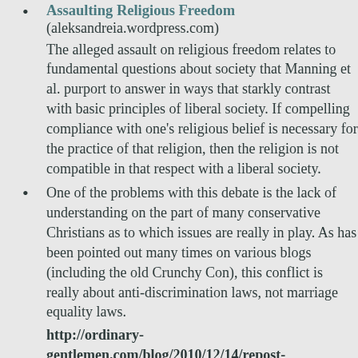Assaulting Religious Freedom (aleksandreia.wordpress.com) The alleged assault on religious freedom relates to fundamental questions about society that Manning et al. purport to answer in ways that starkly contrast with basic principles of liberal society. If compelling compliance with one's religious belief is necessary for the practice of that religion, then the religion is not compatible in that respect with a liberal society.
One of the problems with this debate is the lack of understanding on the part of many conservative Christians as to which issues are really in play. As has been pointed out many times on various blogs (including the old Crunchy Con), this conflict is really about anti-discrimination laws, not marriage equality laws. http://ordinary-gentlemen.com/blog/2010/12/14/repost-